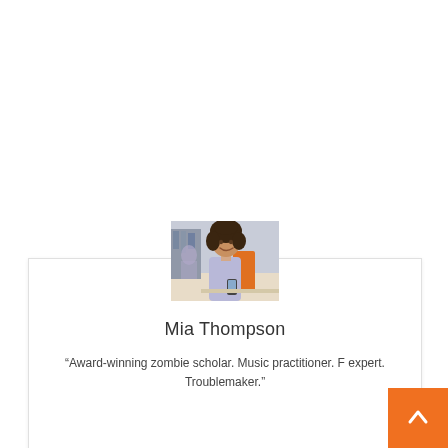[Figure (photo): Photo of a smiling young woman with curly hair sitting at a desk in a classroom, holding a phone, with bookshelves and other students blurred in the background.]
Mia Thompson
“Award-winning zombie scholar. Music practitioner. F expert. Troublemaker.”